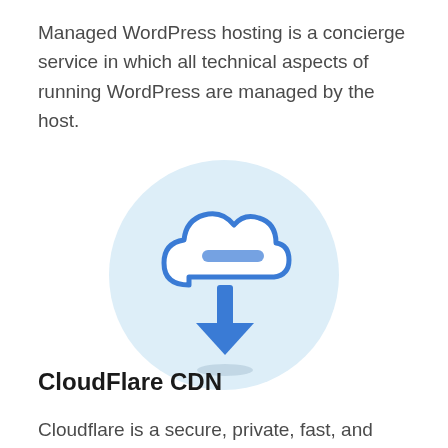Managed WordPress hosting is a concierge service in which all technical aspects of running WordPress are managed by the host.
[Figure (illustration): A cloud download icon with a downward arrow inside a light blue circle, representing cloud-based content delivery or download functionality.]
CloudFlare CDN
Cloudflare is a secure, private, fast, and reliable